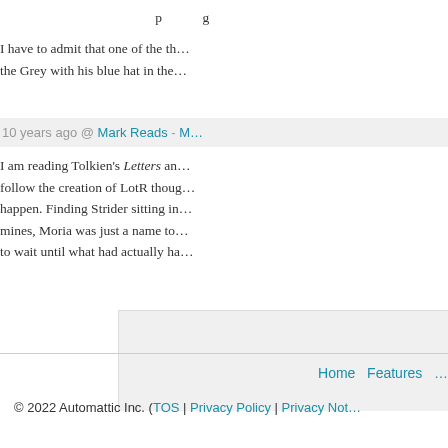I have to admit that one of the th... the Grey with his blue hat in the...
10 years ago @ Mark Reads - M...
I am reading Tolkien's Letters an... follow the creation of LotR thoug... happen. Finding Strider sitting in... mines, Moria was just a name to... to wait until what had actually ha...
Home  Features  ...  © 2022 Automattic Inc. (TOS | Privacy Policy | Privacy Not...